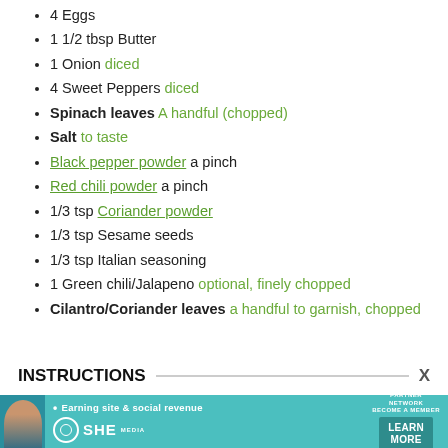4 Eggs
1 1/2 tbsp Butter
1 Onion diced
4 Sweet Peppers diced
Spinach leaves A handful (chopped)
Salt to taste
Black pepper powder a pinch
Red chili powder a pinch
1/3 tsp Coriander powder
1/3 tsp Sesame seeds
1/3 tsp Italian seasoning
1 Green chili/Jalapeno optional, finely chopped
Cilantro/Coriander leaves a handful to garnish, chopped
INSTRUCTIONS
[Figure (other): Advertisement banner for SHE Media Partner Network with tagline 'Earning site & social revenue', featuring a woman's photo, SHE logo, and 'LEARN MORE' button]